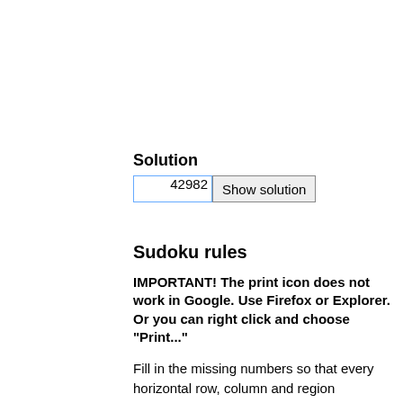Solution
42982  Show solution
Sudoku rules
IMPORTANT! The print icon does not work in Google. Use Firefox or Explorer. Or you can right click and choose "Print..."
Fill in the missing numbers so that every horizontal row, column and region (containing 3x3 squares) contains the numbers 1 to 9. No number can appear in any row, column or region more than once.
More about sudoku
Our sudoku puzzles only have one solution and there is a way to solve them that doesn't involve guessing. Sudoku is